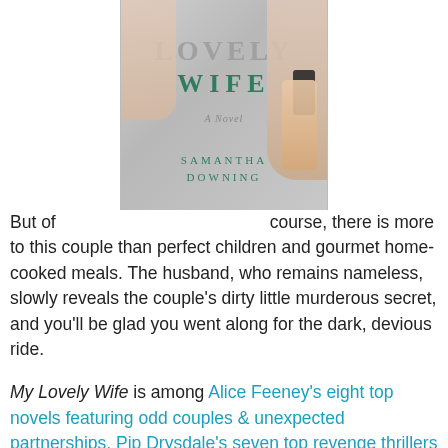[Figure (photo): Book cover of 'My Lovely Wife' by Samantha Downing. Shows two women's faces on either side with a hand holding a phone. Title in large letters, subtitle 'A Novel', author name at bottom.]
But of course, there is more to this couple than perfect children and gourmet home-cooked meals. The husband, who remains nameless, slowly reveals the couple's dirty little murderous secret, and you'll be glad you went along for the dark, devious ride.
My Lovely Wife is among Alice Feeney's eight top novels featuring odd couples & unexpected partnerships, Pip Drysdale's seven top revenge thrillers featuring women who have had enough, Christina McDonald's seven top thrillers with flawed characters, C.J. Tudor's seven crime novels where murder is a group activity, Lisa [continues below]